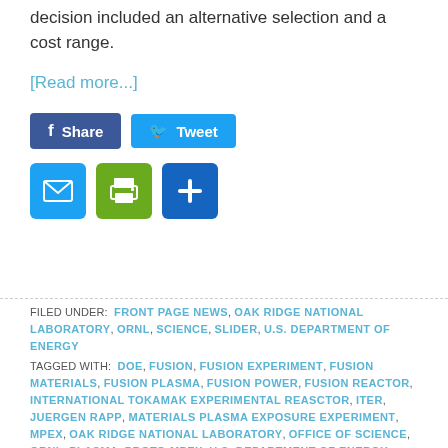decision included an alternative selection and a cost range.
[Read more...]
[Figure (other): Social sharing buttons: Facebook Share and Twitter Tweet buttons, followed by email, print, and add icons]
FILED UNDER: FRONT PAGE NEWS, OAK RIDGE NATIONAL LABORATORY, ORNL, SCIENCE, SLIDER, U.S. DEPARTMENT OF ENERGY
TAGGED WITH: DOE, FUSION, FUSION EXPERIMENT, FUSION MATERIALS, FUSION PLASMA, FUSION POWER, FUSION REACTOR, INTERNATIONAL TOKAMAK EXPERIMENTAL REASCTOR, ITER, JUERGEN RAPP, MATERIALS PLASMA EXPOSURE EXPERIMENT, MPEX, OAK RIDGE NATIONAL LABORATORY, OFFICE OF SCIENCE, ORNL, PLASMA, PROTO-MPEX, U.S. DEPARTMENT OF ENERGY